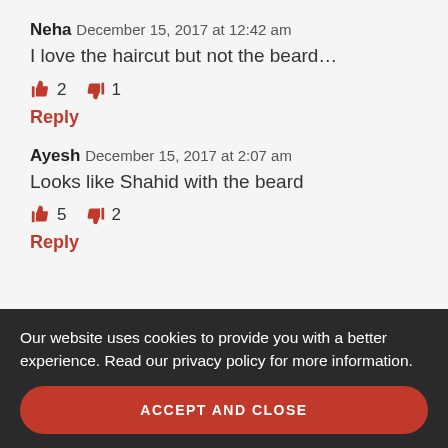Neha December 15, 2017 at 12:42 am
I love the haircut but not the beard…
👍 2  👎 1
Reply
Ayesh December 15, 2017 at 2:07 am
Looks like Shahid with the beard
👍 5  👎 2
Reply
DIVA December 15, 2017 at 3:11 am
I think the total hair look is obsolete and dreadful. The suit-trousers are especially hideous.
👍 12  👎 2
Reply
Our website uses cookies to provide you with a better experience. Read our privacy policy for more information.
ACCEPT AND CLOSE